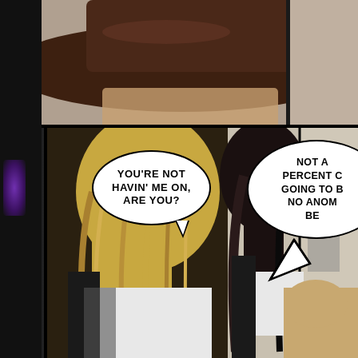[Figure (illustration): A 3D-rendered comic book page showing two panels. Top panel: close-up of a person wearing a dark wide-brimmed hat, face partially visible. Bottom panel: two characters in close proximity — a blonde character on the left with a speech bubble saying 'YOU'RE NOT HAVIN' ME ON, ARE YOU?' and a dark-haired character on the right with a partially visible speech bubble reading 'NOT A PERCENT C... GOING TO B... NO ANOM... BE...'. Dark left border strip with purple glow element.]
YOU'RE NOT HAVIN' ME ON, ARE YOU?
NOT A PERCENT C GOING TO B NO ANOM BE